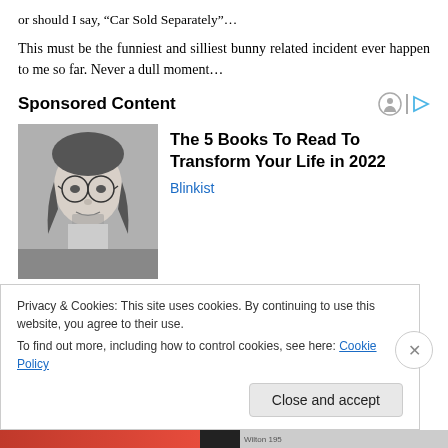or should I say, “Car Sold Separately”…
This must be the funniest and silliest bunny related incident ever happen to me so far. Never a dull moment…
Sponsored Content
[Figure (photo): Black and white photo of a young man with glasses and long hair]
The 5 Books To Read To Transform Your Life in 2022
Blinkist
Privacy & Cookies: This site uses cookies. By continuing to use this website, you agree to their use.
To find out more, including how to control cookies, see here: Cookie Policy
Close and accept